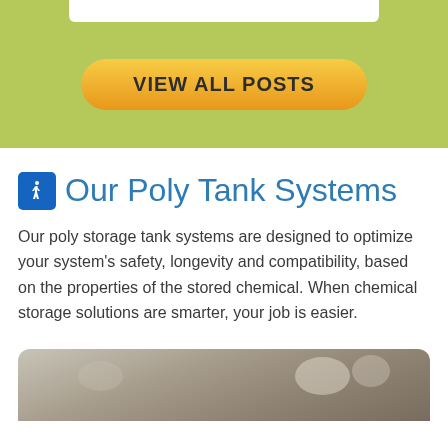[Figure (other): Green background section with a white bar at the top and a yellow-orange rounded 'VIEW ALL POSTS' button centered in the section.]
Our Poly Tank Systems
Our poly storage tank systems are designed to optimize your system's safety, longevity and compatibility, based on the properties of the stored chemical. When chemical storage solutions are smarter, your job is easier.
[Figure (photo): Partial bottom strip showing interior of a facility with poly storage tanks visible.]